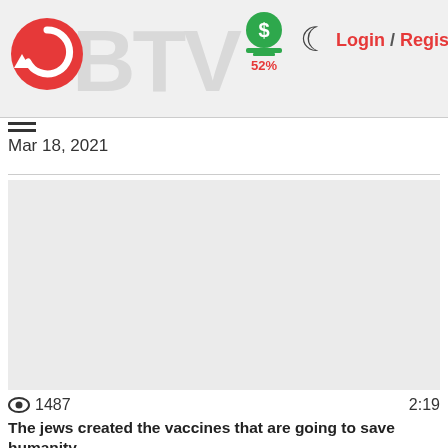Login / Register | 52%
Mar 18, 2021
[Figure (screenshot): Video thumbnail placeholder area, gray background]
👁 1487   2:19
The jews created the vaccines that are going to save humanity
Related:
Softball Pfizer Vaccine Rollout Interview Goes Horribly Wrong